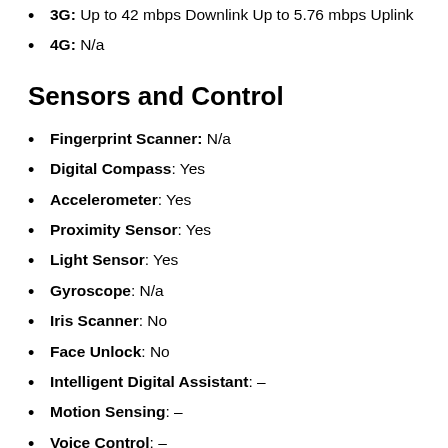3G: Up to 42 mbps Downlink Up to 5.76 mbps Uplink
4G: N/a
Sensors and Control
Fingerprint Scanner: N/a
Digital Compass: Yes
Accelerometer: Yes
Proximity Sensor: Yes
Light Sensor: Yes
Gyroscope: N/a
Iris Scanner: No
Face Unlock: No
Intelligent Digital Assistant: –
Motion Sensing: –
Voice Control: –